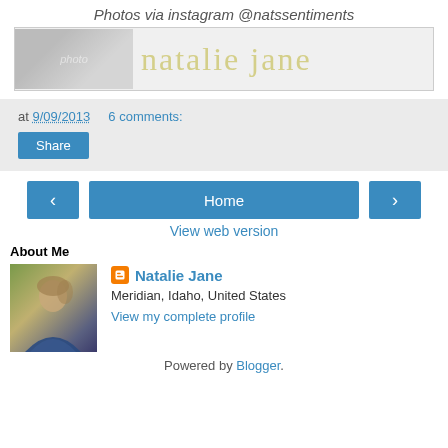Photos via instagram @natssentiments
[Figure (illustration): Blog header banner with a small photo on the left and cursive script 'natalie jane' in light yellow on white/light background]
at 9/09/2013   6 comments:
Share
‹   Home   ›
View web version
About Me
[Figure (photo): Profile photo of Natalie Jane, a woman with light brown hair in an updo, wearing a blue top, smiling outdoors]
Natalie Jane
Meridian, Idaho, United States
View my complete profile
Powered by Blogger.